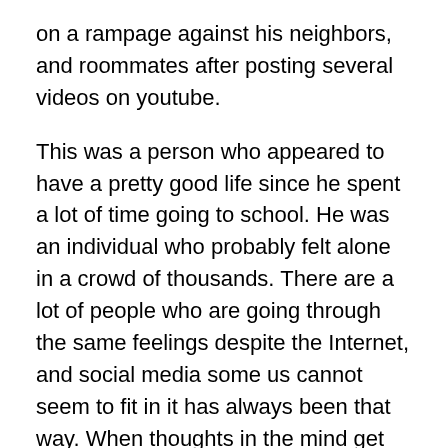on a rampage against his neighbors, and roommates after posting several  videos on youtube.
This was a person who appeared to have a pretty good life since he spent a lot of time going to school. He was an individual who probably felt alone in a crowd of thousands. There are a lot of people who are going through the same feelings despite the Internet, and social media some us cannot seem to fit in it has always been that way. When thoughts in the mind get out of control we all see the results on our media devices, and try to explain it away to our collective satisfaction.
The mind is indeed a terrible thing to waste. The ability to think, and make decisions is a gift we all posses. The state of our individual thoughts both positive, and negative, and the results of those thoughts will always affect those